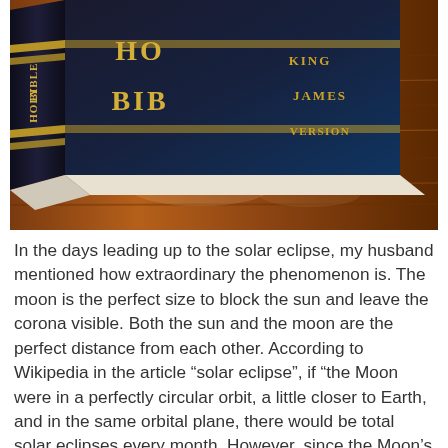[Figure (photo): A Holy Bible King James Version with a black leather cover resting on a wooden surface, photographed at an angle showing the spine with gold lettering.]
In the days leading up to the solar eclipse, my husband mentioned how extraordinary the phenomenon is. The moon is the perfect size to block the sun and leave the corona visible. Both the sun and the moon are the perfect distance from each other. According to Wikipedia in the article “solar eclipse”, if “the Moon were in a perfectly circular orbit, a little closer to Earth,  and in the same orbital plane, there would be total solar eclipses every month. However, since the Moon’s orbit it tilted at more than 5 degrees to the Earth’s orbit around the Sun, its shadow usually